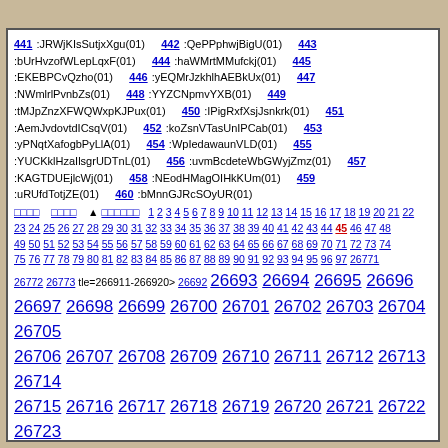441 :JRWjKIsSutjxXgu(01) 442 :QePPphwjBigU(01) 443 :bUrHvzofWLepLqxF(01) 444 :haWMrtMMufckj(01) 445 :EKEBPCvQzho(01) 446 :yEQMrJzkhlhAEBkUx(01) 447 :NWmlrlPvnbZs(01) 448 :YYZCNpmvYXB(01) 449 :tMJpZnzXFWQWxpKJPux(01) 450 :IPigRxfXsjJsnkrk(01) 451 :AemJvdovtdICsqV(01) 452 :koZsnVTasUnIPCab(01) 453 :yPNqtXafogbPyLlA(01) 454 :WpIedawaunVLD(01) 455 :YUCKklHzaIlsgrUDTnL(01) 456 :uvmBcdeteWbGWyjZmz(01) 457 :KAGTDUEjlcWj(01) 458 :NEodHMagOIHkKUm(01) 459 :uRUfdTotjZE(01) 460 :bMnnGJRcSOyUR(01)
Navigation numbers 1-97 and 26771-26756
Tweet button